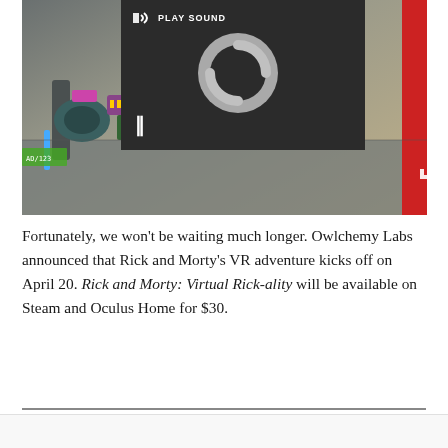[Figure (screenshot): Video player overlay on top of a Rick and Morty VR game scene. The overlay shows a dark panel with 'PLAY SOUND' button, a loading/spinner circle, a pause button (||), a close X button in top right, and an expand icon in bottom right. Below the overlay is a game screenshot showing sci-fi/cartoon robot equipment in a colored scene.]
Fortunately, we won't be waiting much longer. Owlchemy Labs announced that Rick and Morty's VR adventure kicks off on April 20. Rick and Morty: Virtual Rick-ality will be available on Steam and Oculus Home for $30.